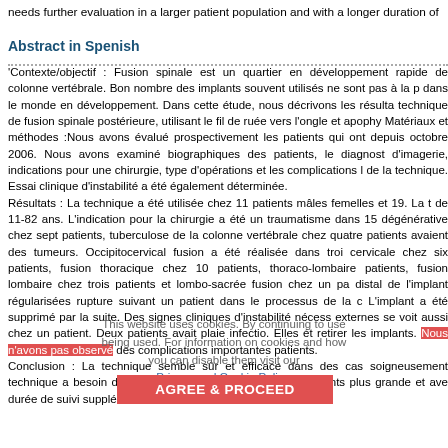needs further evaluation in a larger patient population and with a longer duration of
Abstract in Spenish
'Contexte/objectif : Fusion spinale est un quartier en développement rapide de colonne vertébrale. Bon nombre des implants souvent utilisés ne sont pas à la p dans le monde en développement. Dans cette étude, nous décrivons les résulta technique de fusion spinale postérieure, utilisant le fil de ruée vers l'ongle et apophy Matériaux et méthodes :Nous avons évalué prospectivement les patients qui ont depuis octobre 2006. Nous avons examiné biographiques des patients, le diagnost d'imagerie, indications pour une chirurgie, type d'opérations et les complications l de la technique. Essai clinique d'instabilité a été également déterminée. Résultats : La technique a été utilisée chez 11 patients mâles femelles et 19. La t de 11-82 ans. L'indication pour la chirurgie a été un traumatisme dans 15 dégénérative chez sept patients, tuberculose de la colonne vertébrale chez quatre patients avaient des tumeurs. Occipitocervical fusion a été réalisée dans troi cervicale chez six patients, fusion thoracique chez 10 patients, thoraco-lombaire patients, fusion lombaire chez trois patients et lombo-sacrée fusion chez un pa distal de l'implant régularisées rupture suivant un patient dans le processus de la c L'implant a été supprimé par la suite. Des signes cliniques d'instabilité nécess externes se voit aussi chez un patient. Deux patients avait plaie infectio. Elles ét retirer les implants. Nous n'avons pas observé des complications importantes patients. Conclusion : La technique semble sûr et efficace dans des cas soigneusement technique a besoin d'évaluation dans une population de patients plus grande et ave durée de suivi supplémentaires.